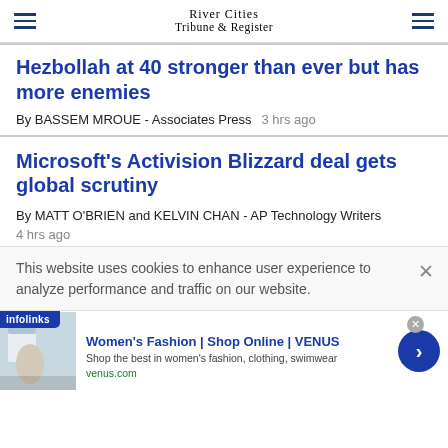River Cities Tribune & Register
Hezbollah at 40 stronger than ever but has more enemies
By BASSEM MROUE - Associates Press   3 hrs ago
Microsoft's Activision Blizzard deal gets global scrutiny
By MATT O'BRIEN and KELVIN CHAN - AP Technology Writers
This website uses cookies to enhance user experience to analyze performance and traffic on our website.
[Figure (screenshot): Advertisement banner for Women's Fashion | Shop Online | VENUS with image, text and arrow button. Infolinks ad label visible.]